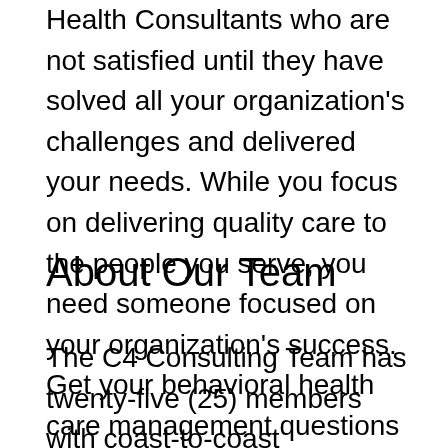Health Consultants who are not satisfied until they have solved all your organization's challenges and delivered your needs. While you focus on delivering quality care to the people you serve, you need someone focused on your organization's success. Get your behavioral health care management questions answered by experienced consultants.
About Our Team
The C4 Consulting Team has twenty-five (25) members with coast-to-coast representation in sixteen (16) U.S. states. Our consultants have over 475 years of combined consulting experience and the client results to prove it. They are recognized as